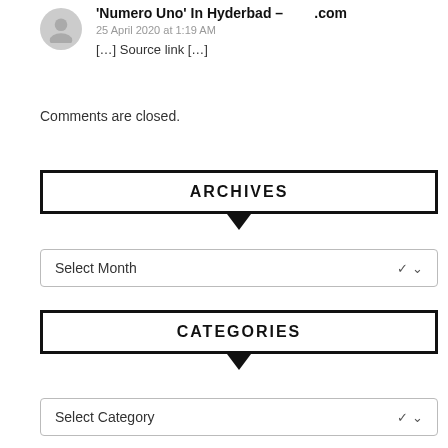'Numero Uno' In Hyderbad – .com
25 April 2020 at 1:19 AM
[…] Source link […]
Comments are closed.
ARCHIVES
Select Month
CATEGORIES
Select Category